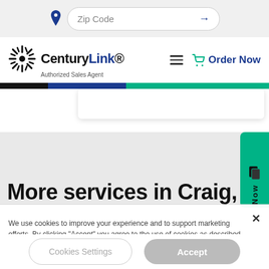[Figure (screenshot): Top search bar with location pin icon and Zip Code input field with arrow]
[Figure (logo): CenturyLink Authorized Sales Agent logo with hamburger menu and Order Now button]
[Figure (infographic): Color stripe bar with black, blue, and green segments; white card box below]
More services in Craig,
[Figure (infographic): Green vertical tab on right side with document icon and 'Now' text]
We use cookies to improve your experience and to support marketing efforts. By clicking "Accept" you agree to the use of cookies as described in our privacy policy.
[Figure (screenshot): Cookie consent buttons: Cookies Settings and Accept]